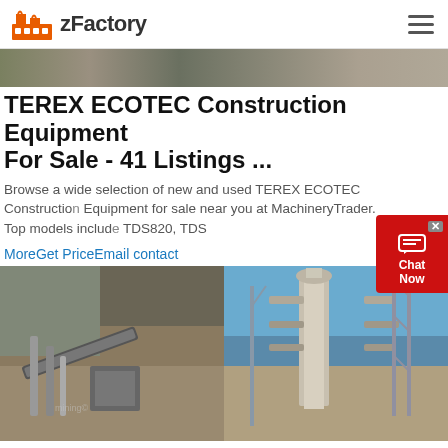zFactory
[Figure (photo): Partial top banner photo of construction/quarry site]
TEREX ECOTEC Construction Equipment For Sale - 41 Listings ...
Browse a wide selection of new and used TEREX ECOTEC Construction Equipment for sale near you at MachineryTrader. Top models include TDS820, TDS
MoreGet PriceEmail contact
[Figure (photo): Two photos side by side: left shows industrial conveyor and crushing equipment at a quarry site; right shows a large vertical mill or separator machine at a construction site]
Used Construction Equipment - Messick's
Used Construction Equipment. Most dealers wait until they are slow to